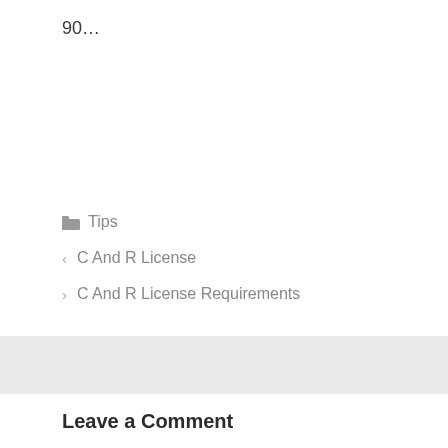90…
Tips
< C And R License
> C And R License Requirements
Leave a Comment